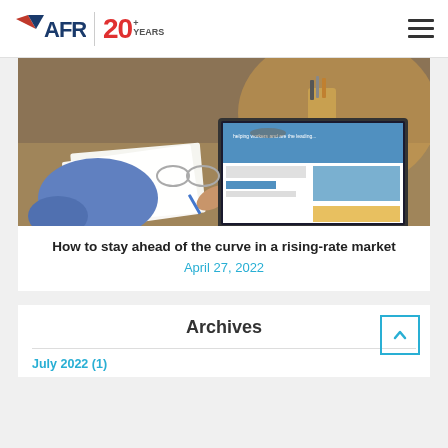AFR | 20+ YEARS
[Figure (photo): Person writing notes while using a laptop computer at a wooden desk, with a cup holding pens and a notebook visible]
How to stay ahead of the curve in a rising-rate market
April 27, 2022
Archives
July 2022 (1)